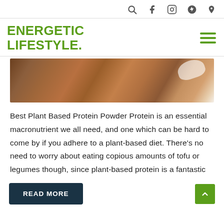Search, Facebook, Instagram, Pinterest icons
ENERGETIC LIFESTYLE
[Figure (photo): Close-up photo of brown protein powder with a white spoon/scoop partially visible at the top right]
Best Plant Based Protein Powder Protein is an essential macronutrient we all need, and one which can be hard to come by if you adhere to a plant-based diet. There's no need to worry about eating copious amounts of tofu or legumes though, since plant-based protein is a fantastic
READ MORE